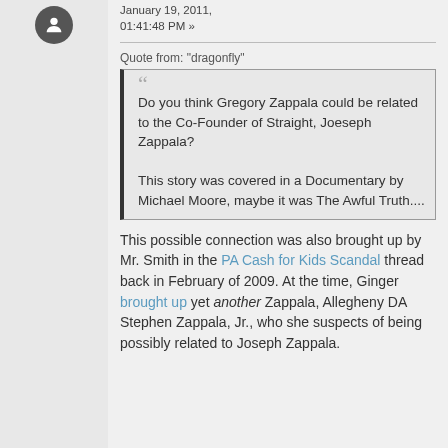January 19, 2011, 01:41:48 PM »
Quote from: "dragonfly"
Do you think Gregory Zappala could be related to the Co-Founder of Straight, Joeseph Zappala?

This story was covered in a Documentary by Michael Moore, maybe it was The Awful Truth....
This possible connection was also brought up by Mr. Smith in the PA Cash for Kids Scandal thread back in February of 2009. At the time, Ginger brought up yet another Zappala, Allegheny DA Stephen Zappala, Jr., who she suspects of being possibly related to Joseph Zappala.